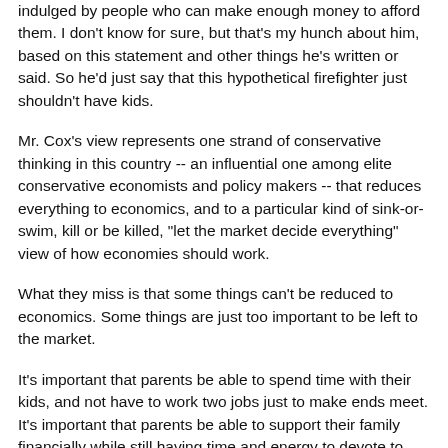indulged by people who can make enough money to afford them. I don't know for sure, but that's my hunch about him, based on this statement and other things he's written or said. So he'd just say that this hypothetical firefighter just shouldn't have kids.
Mr. Cox's view represents one strand of conservative thinking in this country -- an influential one among elite conservative economists and policy makers -- that reduces everything to economics, and to a particular kind of sink-or-swim, kill or be killed, "let the market decide everything" view of how economies should work.
What they miss is that some things can't be reduced to economics. Some things are just too important to be left to the market.
It's important that parents be able to spend time with their kids, and not have to work two jobs just to make ends meet. It's important that parents be able to support their family financially while still having time and energy to devote to parenting.